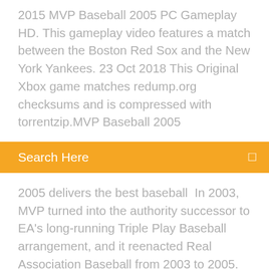2015 MVP Baseball 2005 PC Gameplay HD. This gameplay video features a match between the Boston Red Sox and the New York Yankees. 23 Oct 2018 This Original Xbox game matches redump.org checksums and is compressed with torrentzip.MVP Baseball 2005
Search Here
2005 delivers the best baseball  In 2003, MVP turned into the authority successor to EA's long-running Triple Play Baseball arrangement, and it reenacted Real Association Baseball from 2003 to 2005. MVP Baseball 2005 Free Download PC Game Direct Link for Windows. MVP Baseball 2005 is a baseball sports video game developed and published by Electronic Ar Developer: Electronic Arts Genre: Baseball Release: March 1, 2005 MVP Baseball 2005 Video Game Download MVP Baseball 2005You may also like: Action Games DownloadBefore